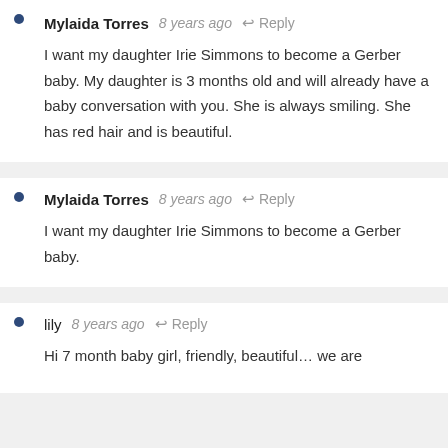Mylaida Torres  8 years ago  Reply
I want my daughter Irie Simmons to become a Gerber baby. My daughter is 3 months old and will already have a baby conversation with you. She is always smiling. She has red hair and is beautiful.
Mylaida Torres  8 years ago  Reply
I want my daughter Irie Simmons to become a Gerber baby.
lily  8 years ago  Reply
Hi 7 month baby girl, friendly, beautiful… we are